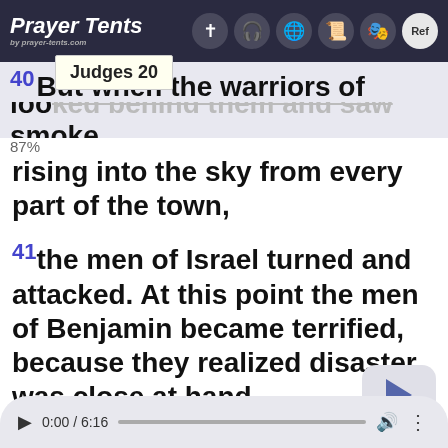Prayer Tents [app header with navigation icons]
Judges 20 [tooltip]
40 But when the warriors of Benjamin looked behind them and saw the smoke rising into the sky from every part of the town,
87%
41 the men of Israel turned and attacked. At this point the men of Benjamin became terrified, because they realized disaster was close at hand.
42 So they turned around and fled
0:00 / 6:16 audio player